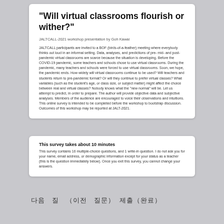"Will virtual classrooms flourish or wither?"
JALTCALL-2021 workshop presentation by Goh Kawai
JALTCALL participants are invited to a BOF (birds-of-a-feather) meeting where everybody thinks out loud in an informal setting. Data, analyses, and predictions of pre- mid- and post-pandemic virtual classrooms are scarce because the situation is developing. Before the COVID-19 pandemic, some teachers and schools chose to use virtual classrooms. During the pandemic, many teachers and schools were forced to use virtual classrooms. Soon, we hope, the pandemic ends. How widely will virtual classrooms continue to be used? Will teachers and students return to pre-pandemic format? Or will they continue to prefer virtual classes? What variables (such as the student's age, or class size, or subject matter) might affect the choice between real and virtual classes? Nobody knows what the "new normal" will be. Let us attempt to predict, in order to prepare. The author will provide objective data and subjective analyses. Members of the audience are encouraged to voice their observations and intuitions. This online survey is intended to be completed before the workshop to bootstrap discussion. Outcomes of this workshop may be reported at JALT-2021.
This survey takes about 10 minutes
This survey contains 16 multiple-choice questions, and 1 write-in question. I do not ask you for your name, email address, or demographic information except for your status as a teacher (this is the question immediately below). Once you exit this survey, you cannot change your answers.
다음 질문 （이전 질문） 제출(완료)